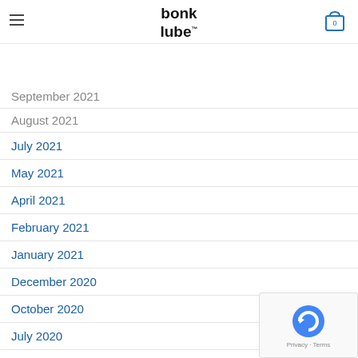bonk lube
September 2021 (partial/cropped)
August 2021 (partial)
July 2021
May 2021
April 2021
February 2021
January 2021
December 2020
October 2020
July 2020
April 2020
February 2020
November 2019